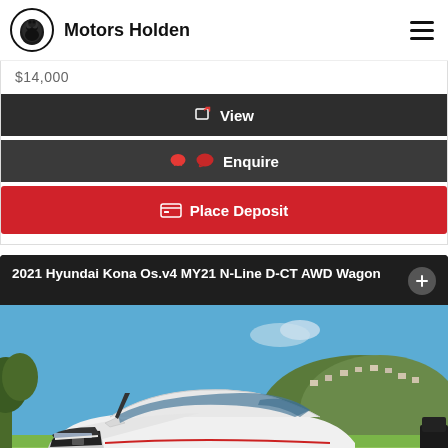Motors Holden
$14,000
View
Enquire
Place Deposit
2021 Hyundai Kona Os.v4 MY21 N-Line D-CT AWD Wagon
[Figure (photo): White 2021 Hyundai Kona N-Line AWD Wagon photographed outdoors against a blue sky with a hillside suburb in the background]